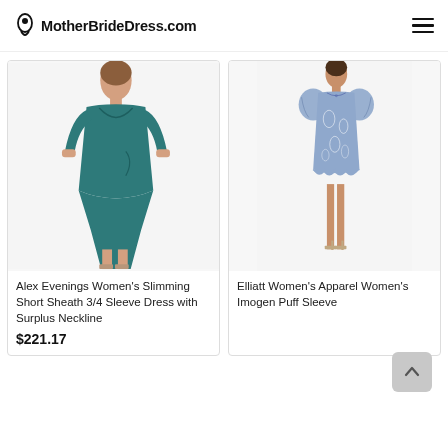MotherBrideDress.com
[Figure (photo): Woman wearing a teal/dark green 3/4 sleeve sheath dress with surplus neckline and side ruching, product photo on white background]
Alex Evenings Women's Slimming Short Sheath 3/4 Sleeve Dress with Surplus Neckline
$221.17
[Figure (photo): Woman wearing a blue and white paisley puff sleeve mini dress with scalloped hem, product photo on white background]
Elliatt Women's Apparel Women's Imogen Puff Sleeve